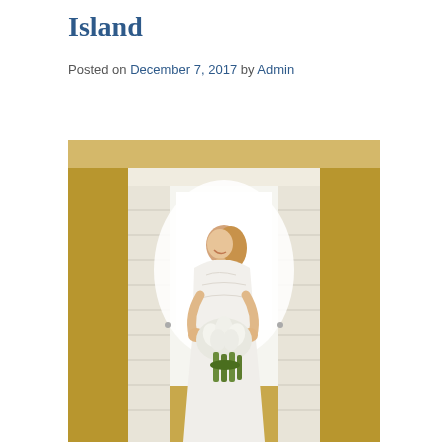Island
Posted on December 7, 2017 by Admin
[Figure (photo): A bride in a white lace wedding dress holding a white bouquet of calla lilies, standing in a doorway with bright backlight from a window behind her. She is smiling and looking down at the bouquet.]